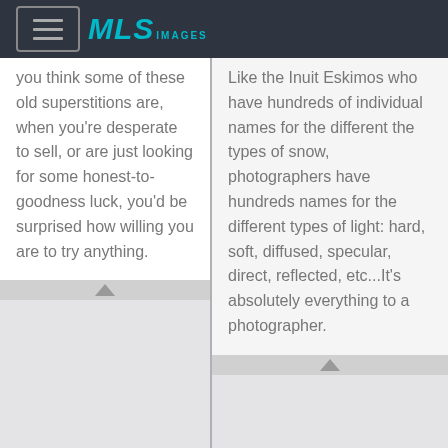MLS IMAGES
you think some of these old superstitions are, when you're desperate to sell, or are just looking for some honest-to-goodness luck, you'd be surprised how willing you are to try anything.
Like the Inuit Eskimos who have hundreds of individual names for the different the types of snow, photographers have hundreds names for the different types of light: hard, soft, diffused, specular, direct, reflected, etc...It's absolutely everything to a photographer.